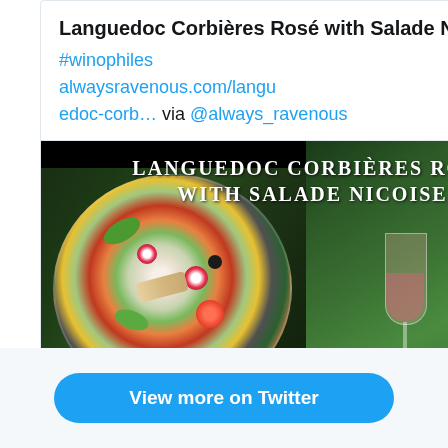Languedoc Corbières Rosé with Salade Nicoise
#winophiles alwaysravenous.com/languedoc-corb… via @always_ravenous
[Figure (photo): Blog post preview image showing 'LANGUEDOC CORBIÈRES ROSÉ WITH SALADE NICOISE' text over dark background with food photo on left and wine glass/bottle on green background on right. Watermark: alwaysravenous.com]
alwaysravenous.com
Languedoc Corbières Rosé with Salade Nicoise …
View more on Twitter